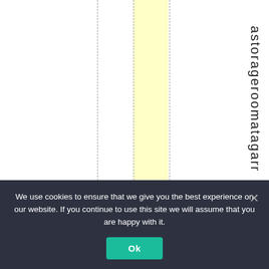[Figure (other): Table or spreadsheet fragment showing a yellow highlighted column with dashed vertical grid lines, and vertical text reading 'a s t o r a g e r o o m a t a g a r' along the right side]
We use cookies to ensure that we give you the best experience on our website. If you continue to use this site we will assume that you are happy with it.
Ok